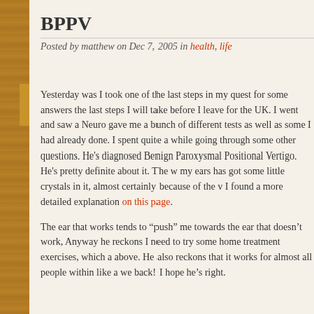BPPV
Posted by matthew on Dec 7, 2005 in health, life
Yesterday was I took one of the last steps in my quest for some answers the last steps I will take before I leave for the UK. I went and saw a Neurologist, who gave me a bunch of different tests as well as some I had already done. He spent quite a while going through some other questions. He's diagnosed me with Benign Paroxysmal Positional Vertigo. He's pretty definite about it. The way my ears has got some little crystals in it, almost certainly because of the virus. I found a more detailed explanation on this page.
The ear that works tends to "push" me towards the ear that doesn't work. Anyway he reckons I need to try some home treatment exercises, which are above. He also reckons that it works for almost all people within like a week back! I hope he's right.
No Conference For You